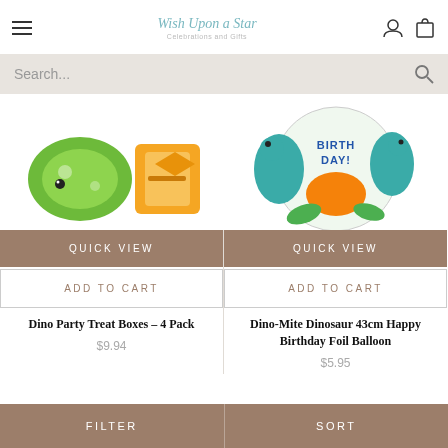Wish Upon a Star — website header with hamburger menu, logo, user icon, and cart icon
Search...
[Figure (photo): Dino Party Treat Boxes product image — green dinosaur-shaped treat boxes with orange accents]
[Figure (photo): Dino-Mite Dinosaur Happy Birthday foil balloon — round balloon with colorful dinosaur characters and 'BIRTHDAY!' text]
QUICK VIEW
QUICK VIEW
ADD TO CART
ADD TO CART
Dino Party Treat Boxes – 4 Pack
Dino-Mite Dinosaur 43cm Happy Birthday Foil Balloon
$9.94
$5.95
FILTER    SORT